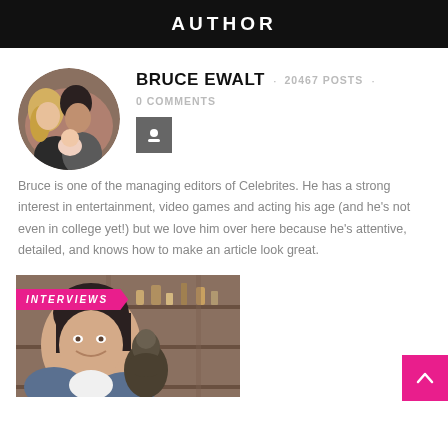AUTHOR
BRUCE EWALT  ·  20467 POSTS  ·  0 COMMENTS
[Figure (photo): Circular profile photo of Bruce Ewalt with two people and a baby]
Bruce is one of the managing editors of Celebrites. He has a strong interest in entertainment, video games and acting his age (and he's not even in college yet!) but we love him over here because he's attentive, detailed, and knows how to make an article look great.
[Figure (photo): Photo of an older woman smiling and holding a Buddha statue, with an INTERVIEWS badge overlay]